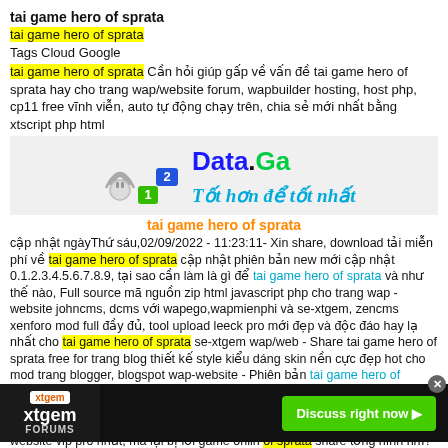tai game hero of sprata
tai game hero of sprata
Tags Cloud Google
tai game hero of sprata Cần hỏi giúp gấp về vấn đề tai game hero of sprata hay cho trang wap/website forum, wapbuilder hosting, host php, cp11 free vĩnh viễn, auto tự động chạy trên, chia sẻ mới nhất bằng xtscript php html
[Figure (logo): Data.Ga logo with signal icon, numbered badges 1 and 2, and tagline 'Tốt hơn để tốt nhất']
tai game hero of sprata
cập nhật ngàyThứ sáu,02/09/2022 - 11:23:11- Xin share, download tải miễn phí về tai game hero of sprata cập nhật phiên bản new mới cập nhật 0.1.2.3.4.5.6.7.8.9, tại sao cần làm là gì để tai game hero of sprata và như thế nào, Full source mã nguồn zip html javascript php cho trang wap - website johncms, dcms với wapego,wapmienphi và se-xtgem, zencms xenforo mod full đầy đủ, tool upload leeck pro mới đẹp và độc đáo hay lạ nhất cho tai game hero of sprata se-xtgem wap/web - Share tai game hero of sprata free for trang blog thiết kế style kiểu dáng skin nền cực đẹp hot cho mod trang blogger, blogspot wap-website - Phiên bản tai game hero of sprata crack full + data cho free - Sell đại lí mua bán trực tuyến online giá rẻ nhất Việt Nam tai game hero of sprata số 1 vn vô đối siêu hài cực nóng hay cực chất lượng, Hướng dẫn cách làm tai game hero of sprata cho trang wap-website vip pro nhất, mà lại bị lỗi game onlin... of sprata share tổng ... hình nhỉ? Hack game ... ho hệ điều hành java mobile pc android smart phone IOS, sản phẩm by search engine
[Figure (screenshot): xtgem Forums advertisement banner with Discuss right now button]